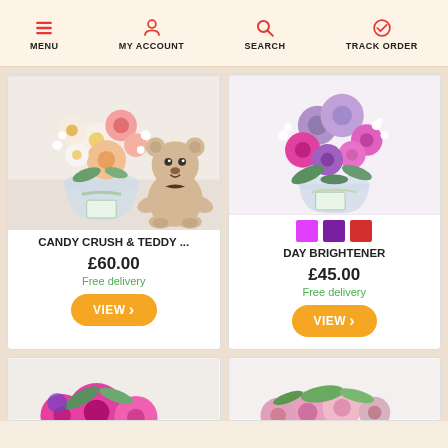MENU  MY ACCOUNT  SEARCH  TRACK ORDER
[Figure (photo): Flower bouquet with a teddy bear, in a glass vase with a tag]
CANDY CRUSH & TEDDY ...
£60.00
Free delivery
[Figure (photo): Purple and pink flower bouquet in a glass vase with a tag, with color swatches: magenta, purple, red]
DAY BRIGHTENER
£45.00
Free delivery
[Figure (photo): Partial view of a pink flower bouquet at the bottom of the page]
[Figure (photo): Partial view of a pink and green flower bouquet at the bottom of the page]